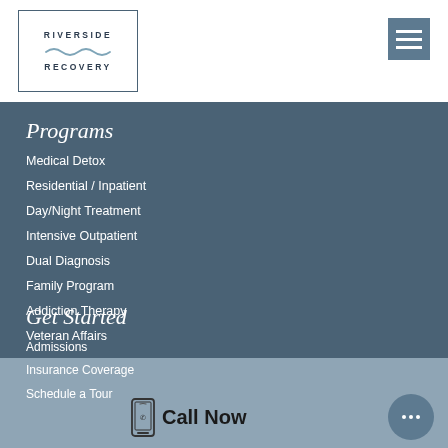[Figure (logo): Riverside Recovery logo in a rectangular border with wavy line decoration]
[Figure (other): Hamburger menu icon (three horizontal lines) on slate blue background]
Programs
Medical Detox
Residential / Inpatient
Day/Night Treatment
Intensive Outpatient
Dual Diagnosis
Family Program
Addiction Therapy
Veteran Affairs
Get Started
Admissions
Insurance Coverage
Schedule a Tour
Call Now